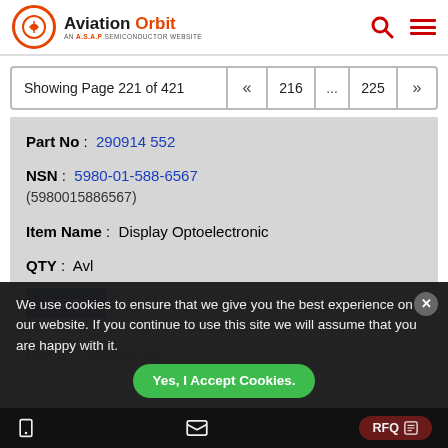Aviation Orbit — AN A.S.A.P SEMICONDUCTOR WEBSITE
Showing Page 221 of 421 « 216 ... 225 »
Part No: 290914 552
NSN: 5980-01-588-6567 (5980015886567)
Item Name: Display Optoelectronic
QTY: Avl
RFQ
Part No: 290014 134
We use cookies to ensure that we give you the best experience on our website. If you continue to use this site we will assume that you are happy with it.
Yes, I Accept Cookies.
RFQ